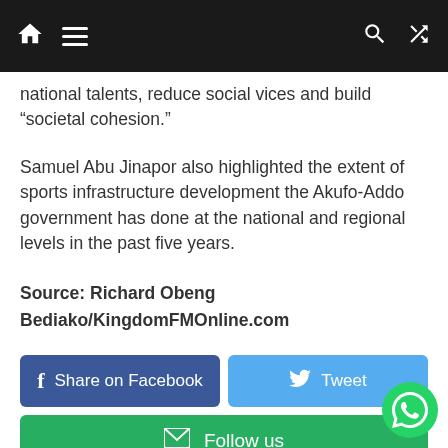Navigation bar with home, menu, search, and shuffle icons
national talents, reduce social vices and build “societal cohesion.”
Samuel Abu Jinapor also highlighted the extent of sports infrastructure development the Akufo-Addo government has done at the national and regional levels in the past five years.
Source: Richard Obeng Bediako/KingdomFMOnline.com
[Figure (infographic): Social sharing buttons: Share on Facebook (blue), Tweet (light blue), Follow us (green with envelope icon)]